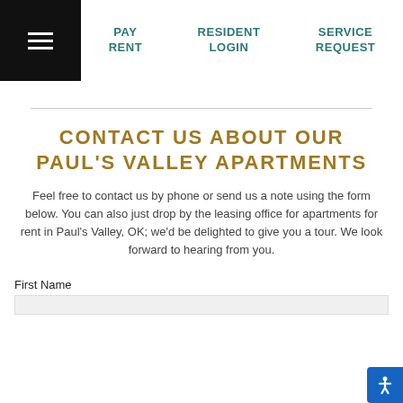PAY RENT  RESIDENT LOGIN  SERVICE REQUEST
CONTACT US ABOUT OUR PAUL'S VALLEY APARTMENTS
Feel free to contact us by phone or send us a note using the form below. You can also just drop by the leasing office for apartments for rent in Paul's Valley, OK; we'd be delighted to give you a tour. We look forward to hearing from you.
First Name